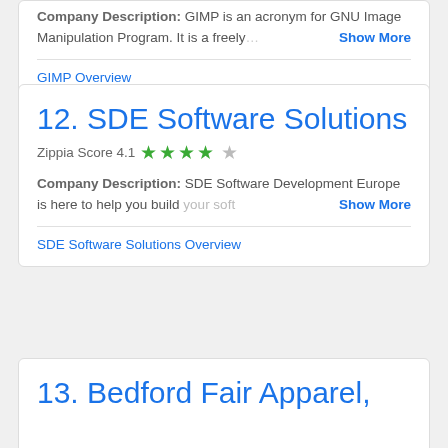Company Description: GIMP is an acronym for GNU Image Manipulation Program. It is a freely  Show More
GIMP Overview
12. SDE Software Solutions
Zippia Score 4.1 ★★★★☆
Company Description: SDE Software Development Europe is here to help you build your soft  Show More
SDE Software Solutions Overview
13. Bedford Fair Apparel,